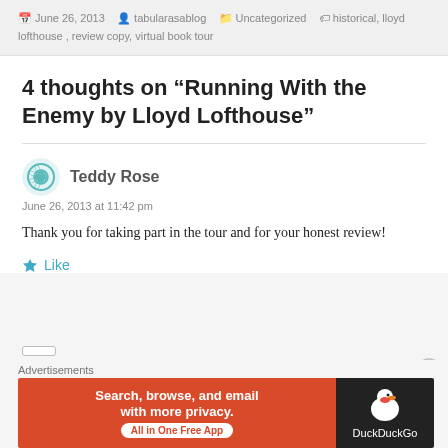June 26, 2013 | tabularasablog | Uncategorized | historical, lloyd lofthouse, review copy, virtual book tour
4 thoughts on “Running With the Enemy by Lloyd Lofthouse”
Teddy Rose
June 26, 2013 at 11:42 pm
Thank you for taking part in the tour and for your honest review!
Like
[Figure (illustration): DuckDuckGo advertisement banner: orange left panel with text 'Search, browse, and email with more privacy. All in One Free App' and dark right panel with DuckDuckGo duck logo and brand name]
Advertisements